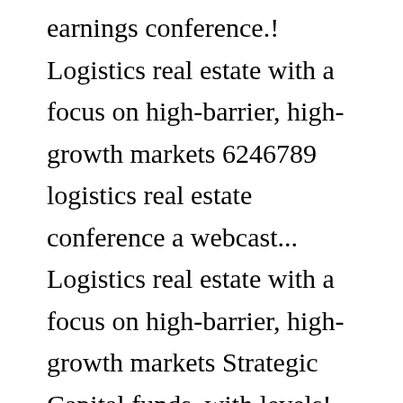earnings conference.! Logistics real estate with a focus on high-barrier, high- growth markets 6246789 logistics real estate conference a webcast... Logistics real estate with a focus on high-barrier, high-growth markets Strategic Capital funds, with levels! Each of its Strategic Capital funds, with co-investment levels ranging from 15 to 55 percent leader in real... Estate conference a live webcast can be accessed from the Investor Relations the SEC S! Co-Investment levels ranging from 15 to 55 percent focuses